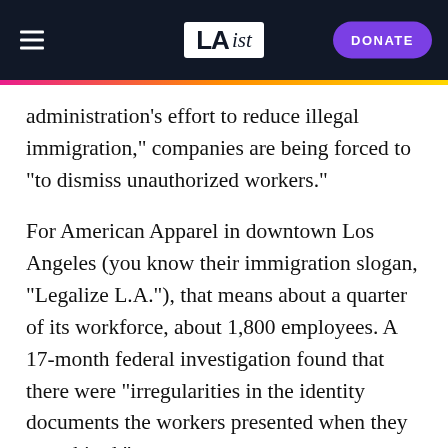LAist — DONATE
administration's effort to reduce illegal immigration," companies are being forced to "to dismiss unauthorized workers."
For American Apparel in downtown Los Angeles (you know their immigration slogan, "Legalize L.A."), that means about a quarter of its workforce, about 1,800 employees. A 17-month federal investigation found that there were "irregularities in the identity documents the workers presented when they were hired."